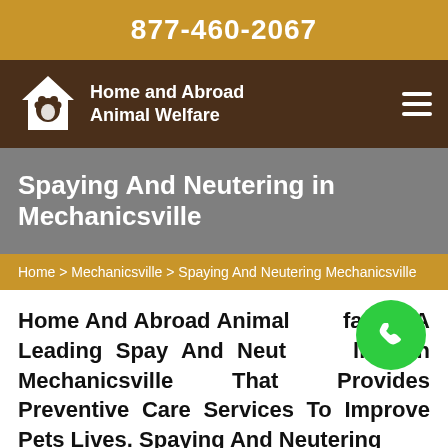877-460-2067
[Figure (logo): Home and Abroad Animal Welfare logo with house and paw print icon, navigation bar with hamburger menu]
Spaying And Neutering in Mechanicsville
Home > Mechanicsville > Spaying And Neutering Mechanicsville
Home And Abroad Animal Welfare Is A Leading Spay And Neuter Clinic in Mechanicsville That Provides Preventive Care Services To Improve Pets Lives. Spaying And Neutering